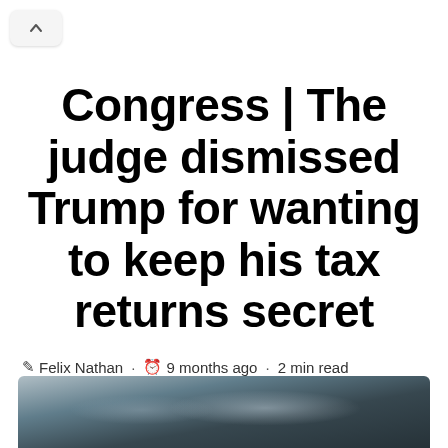[Figure (screenshot): Navigation back button (chevron up icon) in rounded rectangle]
Congress | The judge dismissed Trump for wanting to keep his tax returns secret
Felix Nathan · 9 months ago · 2 min read
[Figure (photo): Dark moody sky with clouds, partial image at bottom of screen]